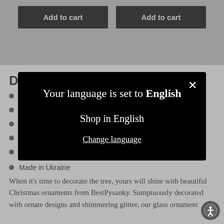Add to cart
Add to cart
D
Made in Ukraine
When it's time to decorate the tree, yours will shine with beautiful Christmas ornaments from BestPysanky. Sumptuously decorated with ornate designs and shimmering glitter, our glass ornament collection has been designed to...
[Figure (screenshot): Modal dialog on a dark overlay showing 'Your language is set to English' with 'Shop in English' button and 'Change language' link, with a close X button in the top right.]
[Figure (other): Accessibility icon button (person in circle) in the bottom right corner.]